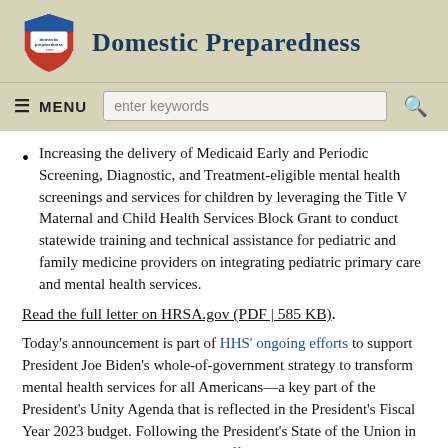Domestic Preparedness
Increasing the delivery of Medicaid Early and Periodic Screening, Diagnostic, and Treatment-eligible mental health screenings and services for children by leveraging the Title V Maternal and Child Health Services Block Grant to conduct statewide training and technical assistance for pediatric and family medicine providers on integrating pediatric primary care and mental health services.
Read the full letter on HRSA.gov (PDF | 585 KB).
Today's announcement is part of HHS' ongoing efforts to support President Joe Biden's whole-of-government strategy to transform mental health services for all Americans—a key part of the President's Unity Agenda that is reflected in the President's Fiscal Year 2023 budget. Following the President's State of the Union in March, Secretary Becerra kicked off